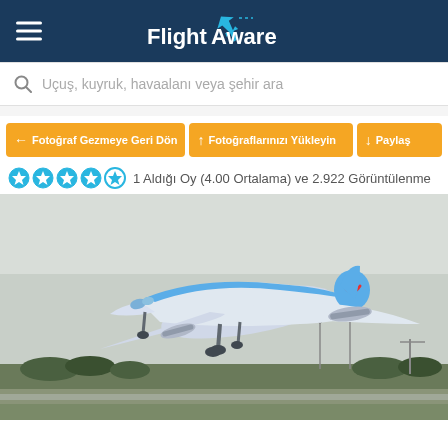FlightAware
Uçuş, kuyruk, havaalanı veya şehir ara
← Fotoğraf Gezmeye Geri Dön
↑ Fotoğraflarınızı Yükleyin
↓ Paylaş
1 Aldığı Oy (4.00 Ortalama) ve 2.922 Görüntülenme
[Figure (photo): TUI branded Boeing 787 Dreamliner aircraft taking off from a runway, photographed from a low angle against an overcast sky, with green fields and wind turbines in the background.]